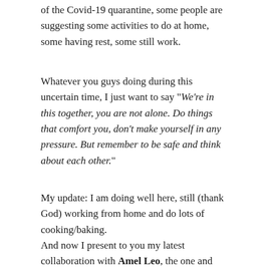of the Covid-19 quarantine, some people are suggesting some activities to do at home, some having rest, some still work.
Whatever you guys doing during this uncertain time, I just want to say "We're in this together, you are not alone. Do things that comfort you, don't make yourself in any pressure. But remember to be safe and think about each other."
My update: I am doing well here, still (thank God) working from home and do lots of cooking/baking.
And now I present to you my latest collaboration with Amel Leo, the one and only photographer whose works I adore so much! You might want to check my other collaboration with her!
Pink Photo Series by Amel Leo